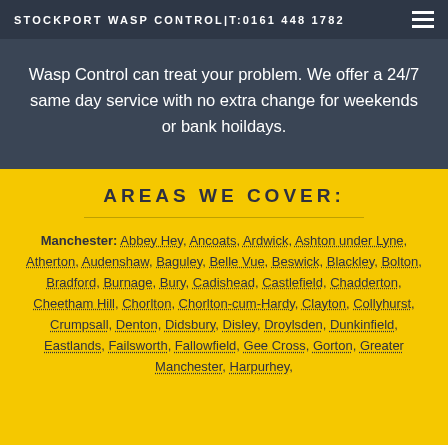STOCKPORT WASP CONTROL|T:0161 448 1782
Wasp Control can treat your problem. We offer a 24/7 same day service with no extra change for weekends or bank hoildays.
AREAS WE COVER:
Manchester: Abbey Hey, Ancoats, Ardwick, Ashton under Lyne, Atherton, Audenshaw, Baguley, Belle Vue, Beswick, Blackley, Bolton, Bradford, Burnage, Bury, Cadishead, Castlefield, Chadderton, Cheetham Hill, Chorlton, Chorlton-cum-Hardy, Clayton, Collyhurst, Crumpsall, Denton, Didsbury, Disley, Droylsden, Dunkinfield, Eastlands, Failsworth, Fallowfield, Gee Cross, Gorton, Greater Manchester, Harpurhey,